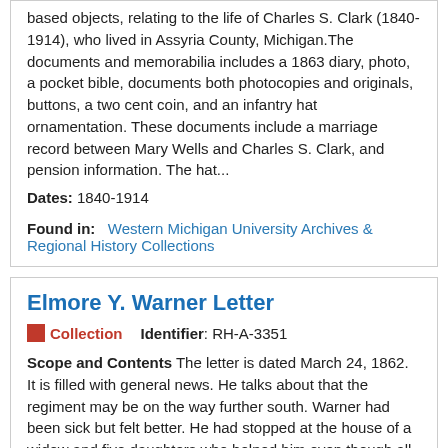based objects, relating to the life of Charles S. Clark (1840-1914), who lived in Assyria County, Michigan.The documents and memorabilia includes a 1863 diary, photo, a pocket bible, documents both photocopies and originals, buttons, a two cent coin, and an infantry hat ornamentation. These documents include a marriage record between Mary Wells and Charles S. Clark, and pension information. The hat...
Dates: 1840-1914
Found in: Western Michigan University Archives & Regional History Collections
Elmore Y. Warner Letter
Collection   Identifier: RH-A-3351
Scope and Contents The letter is dated March 24, 1862. It is filled with general news. He talks about that the regiment may be on the way further south. Warner had been sick but felt better. He had stopped at the house of a widow and five daughters who helped him even though all their friends had been in the Confederacy. He reported that the ladies, "...don't